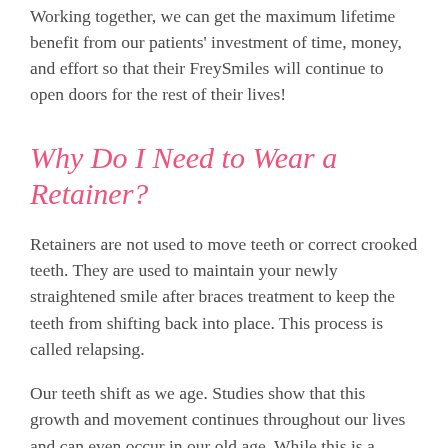Working together, we can get the maximum lifetime benefit from our patients' investment of time, money, and effort so that their FreySmiles will continue to open doors for the rest of their lives!
Why Do I Need to Wear a Retainer?
Retainers are not used to move teeth or correct crooked teeth. They are used to maintain your newly straightened smile after braces treatment to keep the teeth from shifting back into place. This process is called relapsing.
Our teeth shift as we age. Studies show that this growth and movement continues throughout our lives and can even occur in our old age. While this is a natural part of the aging process, it can be